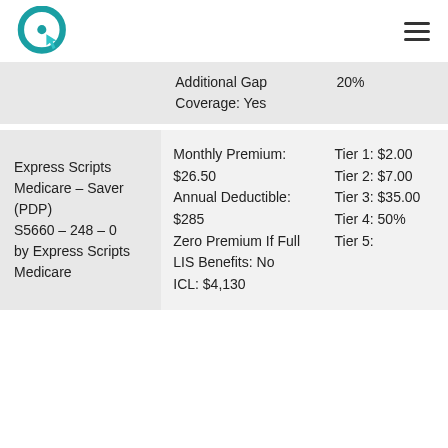Logo and navigation menu
| Plan | Details | Cost Sharing |
| --- | --- | --- |
|  | Additional Gap Coverage: Yes | 20% |
| Express Scripts Medicare – Saver (PDP) S5660 – 248 – 0 by Express Scripts Medicare | Monthly Premium: $26.50 Annual Deductible: $285 Zero Premium If Full LIS Benefits: No ICL: $4,130 | Tier 1: $2.00 Tier 2: $7.00 Tier 3: $35.00 Tier 4: 50% Tier 5: |